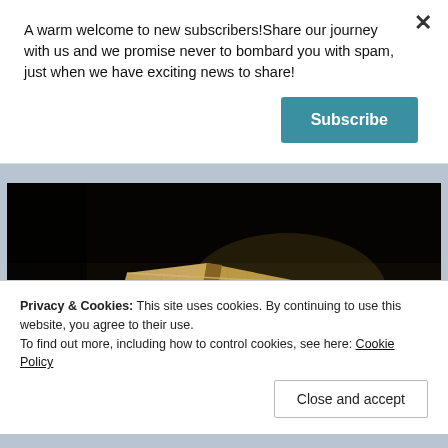A warm welcome to new subscribers!Share our journey with us and we promise never to bombard you with spam, just when we have exciting news to share!
Subscribe
[Figure (photo): Old worn book open on a dark wooden surface, photographed from above at an angle, showing yellowed aged pages in dim dramatic lighting]
Image by Petra from Pixabay
Privacy & Cookies: This site uses cookies. By continuing to use this website, you agree to their use.
To find out more, including how to control cookies, see here: Cookie Policy
Close and accept